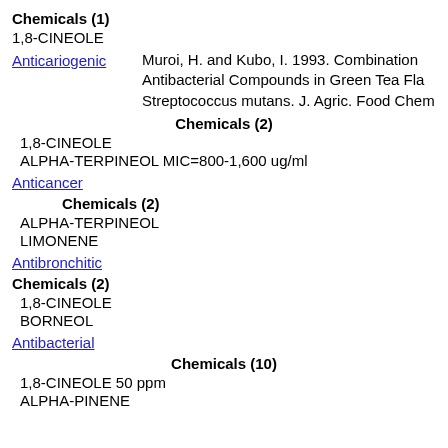Chemicals (1)
1,8-CINEOLE
Muroi, H. and Kubo, I. 1993. Combination Antibacterial Compounds in Green Tea Fla... Streptococcus mutans. J. Agric. Food Chem...
Anticariogenic
Chemicals (2)
1,8-CINEOLE
ALPHA-TERPINEOL MIC=800-1,600 ug/ml
Anticancer
Chemicals (2)
ALPHA-TERPINEOL
LIMONENE
Antibronchitic
Chemicals (2)
1,8-CINEOLE
BORNEOL
Antibacterial
Chemicals (10)
1,8-CINEOLE 50 ppm
ALPHA-PINENE